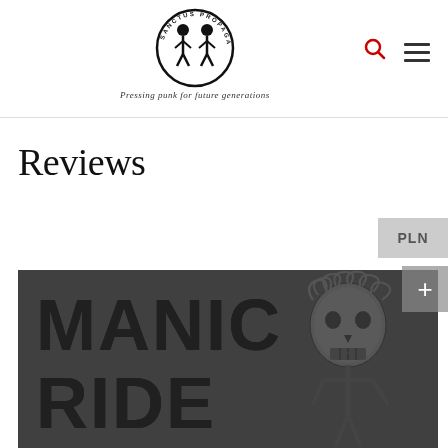[Figure (logo): Sanctus Propaganda logo: circular emblem with two skeleton figures, text 'SANCTUS PROPAGANDA' around the circle, and italic tagline 'Pressing punk for future generations' below]
Reviews
[Figure (photo): Black and white album artwork showing bold text 'MANIC RIDE' with a skeleton figure wearing a laurel wreath on the right side, dark grungy aesthetic]